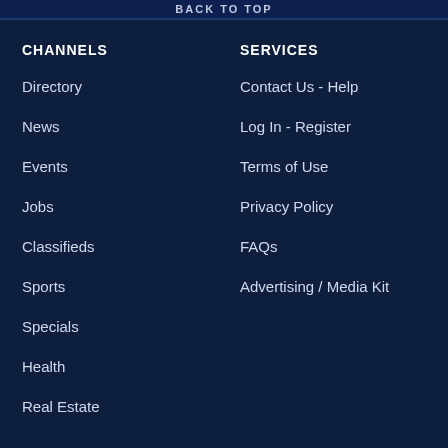BACK TO TOP
CHANNELS
Directory
News
Events
Jobs
Classifieds
Sports
Specials
Health
Real Estate
SERVICES
Contact Us - Help
Log In - Register
Terms of Use
Privacy Policy
FAQs
Advertising / Media Kit